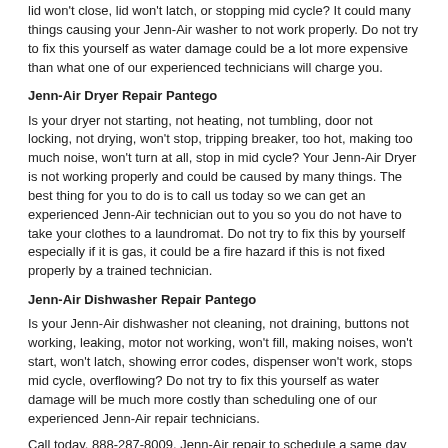lid won't close, lid won't latch, or stopping mid cycle? It could many things causing your Jenn-Air washer to not work properly. Do not try to fix this yourself as water damage could be a lot more expensive than what one of our experienced technicians will charge you.
Jenn-Air Dryer Repair Pantego
Is your dryer not starting, not heating, not tumbling, door not locking, not drying, won't stop, tripping breaker, too hot, making too much noise, won't turn at all, stop in mid cycle? Your Jenn-Air Dryer is not working properly and could be caused by many things. The best thing for you to do is to call us today so we can get an experienced Jenn-Air technician out to you so you do not have to take your clothes to a laundromat. Do not try to fix this by yourself especially if it is gas, it could be a fire hazard if this is not fixed properly by a trained technician.
Jenn-Air Dishwasher Repair Pantego
Is your Jenn-Air dishwasher not cleaning, not draining, buttons not working, leaking, motor not working, won't fill, making noises, won't start, won't latch, showing error codes, dispenser won't work, stops mid cycle, overflowing? Do not try to fix this yourself as water damage will be much more costly than scheduling one of our experienced Jenn-Air repair technicians.
Call today, 888-287-8009, Jenn-Air repair to schedule a same day or next day appointment for a small diagnostic fee
Other Communities serviced: HIGHTSTOWN, HOPEWELL, LAWRENCE TOWNSHIP, PENNINGTON, PRINCETON, PRINCETON JUNCTION, TITUSVILLE, TRENTON, WINDSOR
[Figure (photo): Partial photo of a person at the bottom of the page]